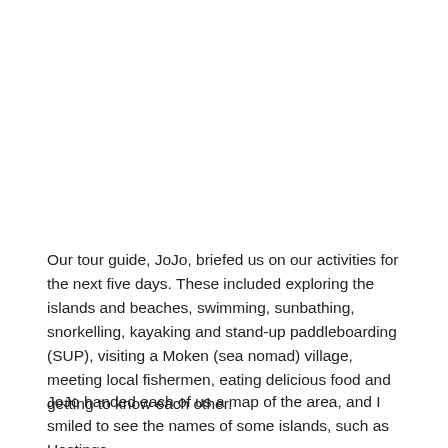Our tour guide, JoJo, briefed us on our activities for the next five days. These included exploring the islands and beaches, swimming, sunbathing, snorkelling, kayaking and stand-up paddleboarding (SUP), visiting a Moken (sea nomad) village, meeting local fishermen, eating delicious food and getting to know each other.
JoJo handed each of us a map of the area, and I smiled to see the names of some islands, such as Hastings Island, Honeybee Island and Saint Saint...